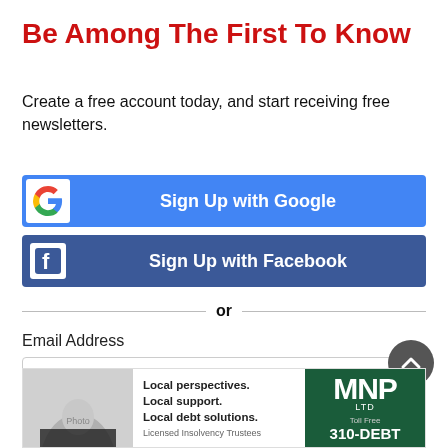Be Among The First To Know
Create a free account today, and start receiving free newsletters.
[Figure (other): Sign Up with Google button with Google G logo icon on white background and blue button]
[Figure (other): Sign Up with Facebook button with Facebook f logo icon and dark blue button]
or
Email Address
[Figure (other): Email address input field with key/password icon on right]
[Figure (other): Scroll to top circular dark grey button with upward chevron]
[Figure (other): MNP advertisement banner: Local perspectives. Local support. Local debt solutions. Licensed Insolvency Trustees. Toll Free 310-DEBT]